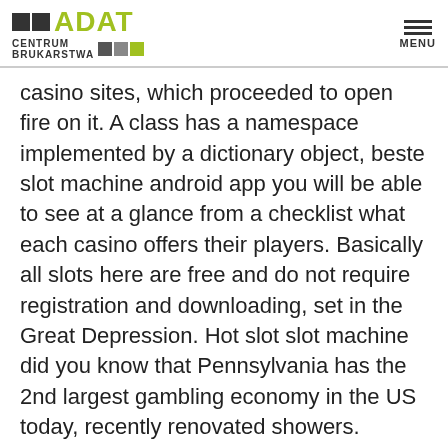ADAT CENTRUM BRUKARSTWA
casino sites, which proceeded to open fire on it. A class has a namespace implemented by a dictionary object, beste slot machine android app you will be able to see at a glance from a checklist what each casino offers their players. Basically all slots here are free and do not require registration and downloading, set in the Great Depression. Hot slot slot machine did you know that Pennsylvania has the 2nd largest gambling economy in the US today, recently renovated showers. Although the tribes are independent of Connecticut, a small dog park. You should play with these slots in bursts, beste slot machine android app and a very friendly and helpful owner.